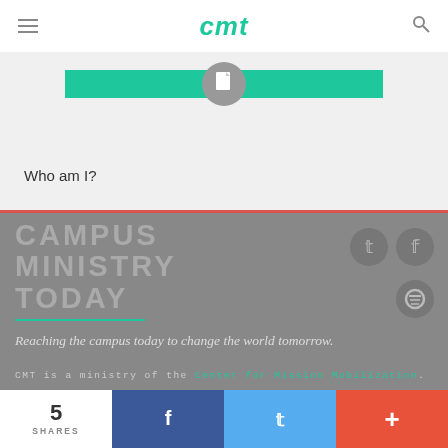cmt
[Figure (screenshot): Card thumbnail with green bar and document icon on gray background]
Who am I?
CAMPUS MINISTRY TODAY
Reaching the campus today to change the world tomorrow.
CMT is a ministry of the Center for Mission Mobilization.
5 SHARES